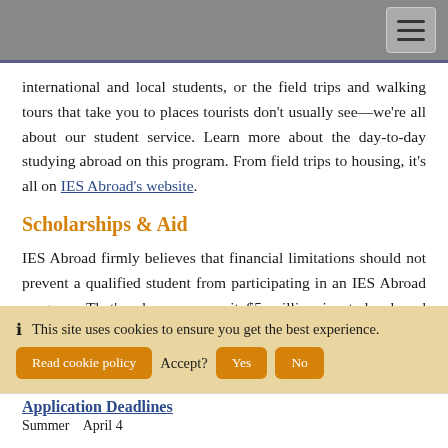Navigation bar with hamburger menu
international and local students, or the field trips and walking tours that take you to places tourists don't usually see—we're all about our student service. Learn more about the day-to-day studying abroad on this program. From field trips to housing, it's all on IES Abroad's website.
Scholarships & Aid
IES Abroad firmly believes that financial limitations should not prevent a qualified student from participating in an IES Abroad program. That's why we commit $5 million in study abroad scholarships and aid, all offered through one quick and easy application. Check out all of
This site uses cookies to ensure you get the best experience.
Read cookie policy   Accept?   Yes   No
Application Deadlines
Summer    April 4